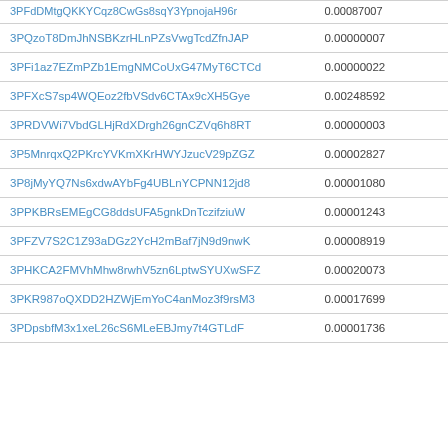| Address | Value |
| --- | --- |
| 3PFdDMtgQKKYCqz8CwGs8sqY3YpnojaH96r | 0.00087007 |
| 3PQzoT8DmJhNSBKzrHLnPZsVwgTcdZfnJAP | 0.00000007 |
| 3PFi1az7EZmPZb1EmgNMCoUxG47MyT6CTCd | 0.00000022 |
| 3PFXcS7sp4WQEoz2fbVSdv6CTAx9cXH5Gye | 0.00248592 |
| 3PRDVWi7VbdGLHjRdXDrgh26gnCZVq6h8RT | 0.00000003 |
| 3P5MnrqxQ2PKrcYVKmXKrHWYJzucV29pZGZ | 0.00002827 |
| 3P8jMyYQ7Ns6xdwAYbFg4UBLnYCPNN12jd8 | 0.00001080 |
| 3PPKBRsEMEgCG8ddsUFA5gnkDnTczifziuW | 0.00001243 |
| 3PFZV7S2C1Z93aDGz2YcH2mBaf7jN9d9nwK | 0.00008919 |
| 3PHKCA2FMVhMhw8rwhV5zn6LptwSYUXwSFZ | 0.00020073 |
| 3PKR987oQXDD2HZWjEmYoC4anMoz3f9rsM3 | 0.00017699 |
| 3PDpsbfM3x1xeL26cS6MLeEBJmy7t4GTLdF | 0.00001736 |